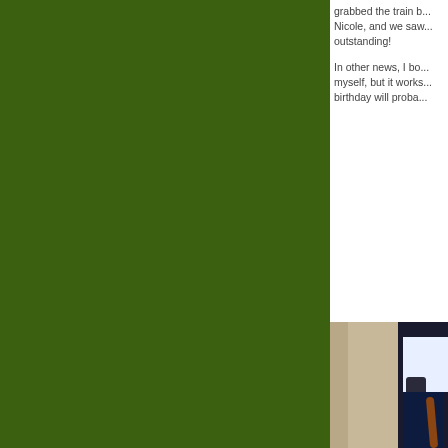[Figure (photo): Large green sidebar/background occupying the left two-thirds of the page]
grabbed the train b... Nicole, and we saw... outstanding!
In other news, I bo... myself, but it works... birthday will proba...
[Figure (photo): Photograph of a computer monitor setup in a room, showing a monitor screen glowing white, a dark canister or cylinder object, blue computer tower, and a braided cable, against a beige wall with door frame visible.]